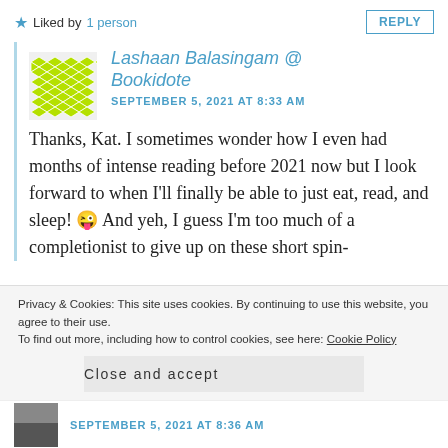★ Liked by 1 person
REPLY
Lashaan Balasingam @ Bookidote
SEPTEMBER 5, 2021 AT 8:33 AM
Thanks, Kat. I sometimes wonder how I even had months of intense reading before 2021 now but I look forward to when I'll finally be able to just eat, read, and sleep! 😜 And yeh, I guess I'm too much of a completionist to give up on these short spin-
Privacy & Cookies: This site uses cookies. By continuing to use this website, you agree to their use.
To find out more, including how to control cookies, see here: Cookie Policy
Close and accept
SEPTEMBER 5, 2021 AT 8:36 AM